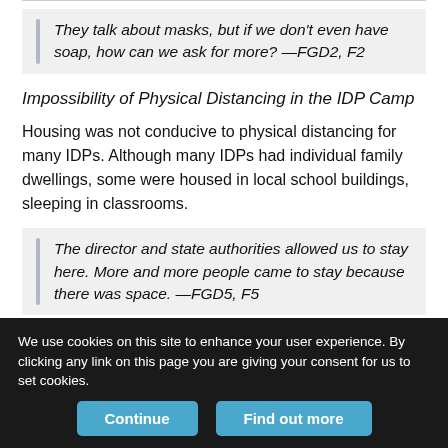They talk about masks, but if we don't even have soap, how can we ask for more? —FGD2, F2
Impossibility of Physical Distancing in the IDP Camp
Housing was not conducive to physical distancing for many IDPs. Although many IDPs had individual family dwellings, some were housed in local school buildings, sleeping in classrooms.
The director and state authorities allowed us to stay here. More and more people came to stay because there was space. —FGD5, F5
We use cookies on this site to enhance your user experience. By clicking any link on this page you are giving your consent for us to set cookies.